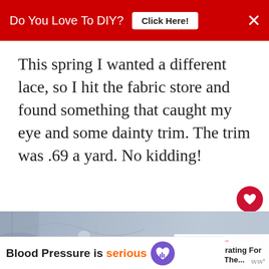Do You Love To DIY?  Click Here!  ×
This spring I wanted a different lace, so I hit the fabric store and found something that caught my eye and some dainty trim. The trim was .69 a yard. No kidding!
[Figure (photo): Close-up photo of white/grey lace fabric texture]
WHAT'S NEXT → Decorating For Fall: The...
[Figure (infographic): Advertisement banner: Blood Pressure is serious with purple heart icon]